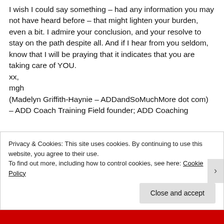I wish I could say something – had any information you may not have heard before – that might lighten your burden, even a bit. I admire your conclusion, and your resolve to stay on the path despite all. And if I hear from you seldom, know that I will be praying that it indicates that you are taking care of YOU.
xx,
mgh
(Madelyn Griffith-Haynie – ADDandSoMuchMore dot com)
– ADD Coach Training Field founder; ADD Coaching
Privacy & Cookies: This site uses cookies. By continuing to use this website, you agree to their use.
To find out more, including how to control cookies, see here: Cookie Policy
Close and accept